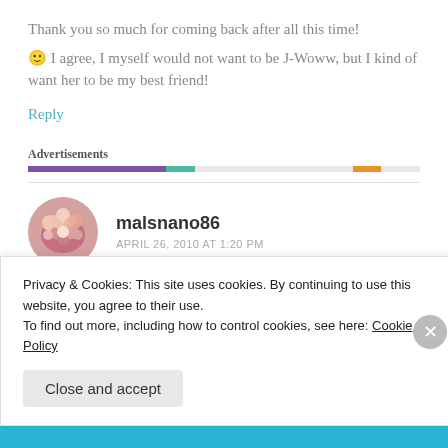Thank you so much for coming back after all this time!
🙂 I agree, I myself would not want to be J-Woww, but I kind of want her to be my best friend!
Reply
Advertisements
malsnano86
APRIL 26, 2010 AT 1:20 PM
Privacy & Cookies: This site uses cookies. By continuing to use this website, you agree to their use.
To find out more, including how to control cookies, see here: Cookie Policy
Close and accept